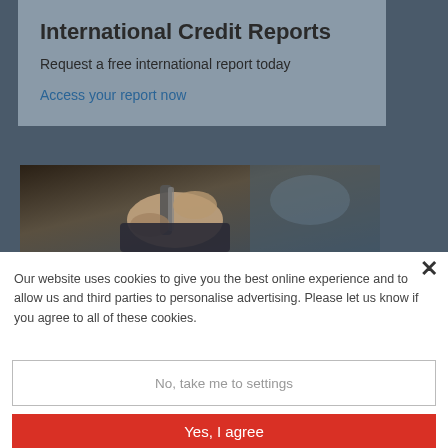International Credit Reports
Request a free international report today
Access your report now
[Figure (photo): Close-up photo of a hand holding a pen, appearing to sign a document, wearing a dark suit sleeve]
Our website uses cookies to give you the best online experience and to allow us and third parties to personalise advertising. Please let us know if you agree to all of these cookies.
No, take me to settings
Yes, I agree